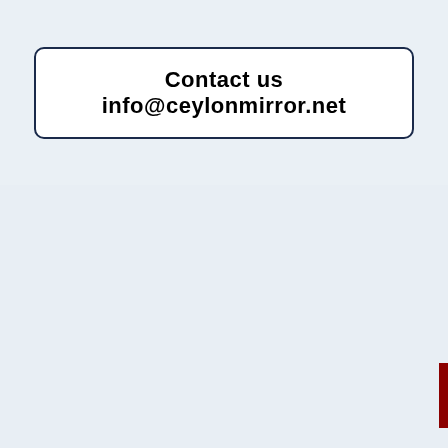Contact us info@ceylonmirror.net